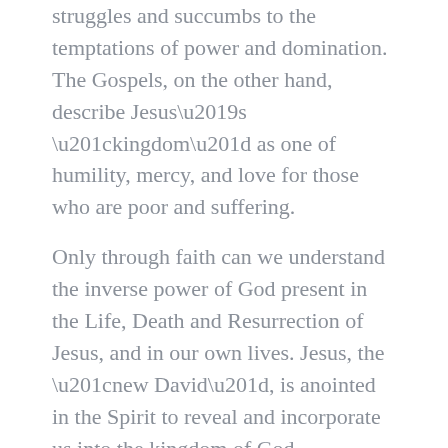struggles and succumbs to the temptations of power and domination. The Gospels, on the other hand, describe Jesus’s “kingdom” as one of humility, mercy, and love for those who are poor and suffering.
Only through faith can we understand the inverse power of God present in the Life, Death and Resurrection of Jesus, and in our own lives. Jesus, the “new David”, is anointed in the Spirit to reveal and incorporate us into the kingdom of God.
Prose: from Immanuel Jakobovits who was the Chief Rabbi of the United Hebrew